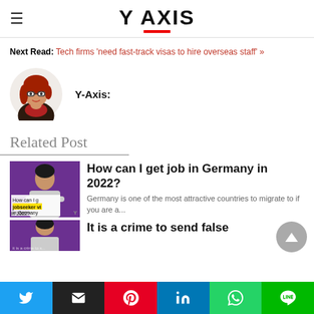Y AXIS
Next Read: Tech firms 'need fast-track visas to hire overseas staff' »
[Figure (illustration): Cartoon avatar of a woman with red hair and glasses, wearing dark clothing]
Y-Axis:
Related Post
[Figure (photo): Thumbnail image of a woman on purple background with text overlay 'How can I get jobseeker visa in Germany in 2022?']
How can I get job in Germany in 2022?
Germany is one of the most attractive countries to migrate to if you are a...
[Figure (photo): Thumbnail image of a woman on purple background, partial view]
It is a crime to send false
Twitter | Email | Pinterest | LinkedIn | WhatsApp | Line